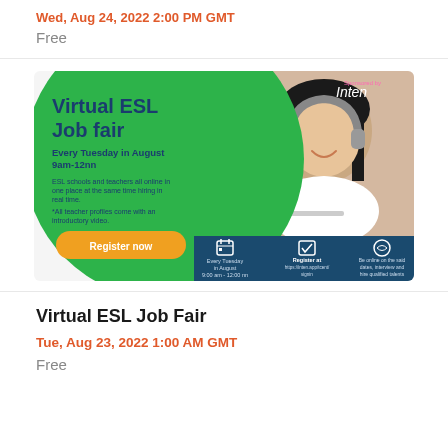Wed, Aug 24, 2022 2:00 PM GMT
Free
[Figure (infographic): Virtual ESL Job Fair promotional banner with green circular background on left showing title 'Virtual ESL Job Fair', schedule 'Every Tuesday in August 9am-12nn', description text, and orange 'Register now' button. Right side shows photo of young Asian girl with headphones smiling at laptop. Dark teal bottom strip with calendar icon, registration info at https://inten.app/tcent/signin, and handshake icon. 'Sponsored by Inten' in top right corner.]
Virtual ESL Job Fair
Tue, Aug 23, 2022 1:00 AM GMT
Free